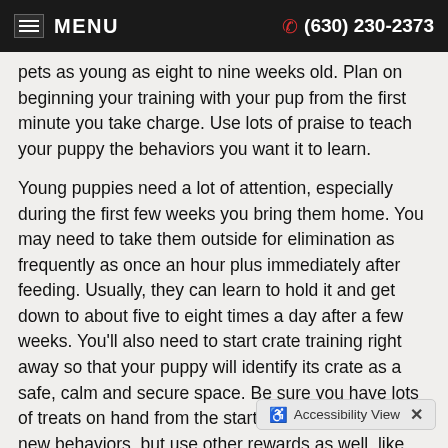MENU   (630) 230-2373
pets as young as eight to nine weeks old. Plan on beginning your training with your pup from the first minute you take charge. Use lots of praise to teach your puppy the behaviors you want it to learn.
Young puppies need a lot of attention, especially during the first few weeks you bring them home. You may need to take them outside for elimination as frequently as once an hour plus immediately after feeding. Usually, they can learn to hold it and get down to about five to eight times a day after a few weeks. You'll also need to start crate training right away so that your puppy will identify its crate as a safe, calm and secure space. Be sure you have lots of treats on hand from the start to reward and train new behaviors, but use other rewards as well, like positive comments, petting and cuddling.